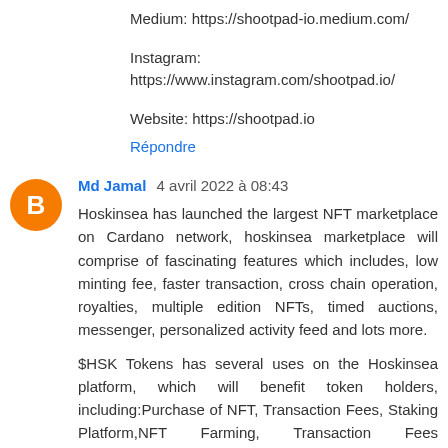Medium: https://shootpad-io.medium.com/
Instagram: https://www.instagram.com/shootpad.io/
Website: https://shootpad.io
Répondre
Md Jamal  4 avril 2022 à 08:43
Hoskinsea has launched the largest NFT marketplace on Cardano network, hoskinsea marketplace will comprise of fascinating features which includes, low minting fee, faster transaction, cross chain operation, royalties, multiple edition NFTs, timed auctions, messenger, personalized activity feed and lots more.
$HSK Tokens has several uses on the Hoskinsea platform, which will benefit token holders, including:Purchase of NFT, Transaction Fees, Staking Platform,NFT Farming, Transaction Fees Redistribution -